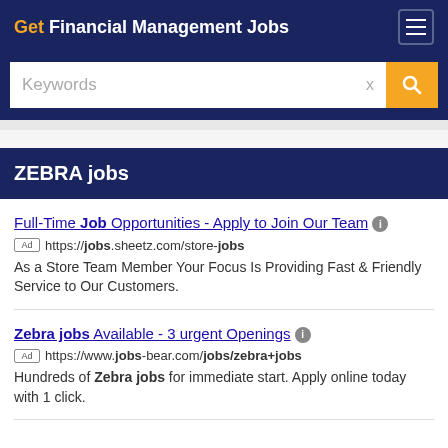Get Financial Management Jobs
[Figure (screenshot): Search bar with Keywords placeholder text, X clear button, and orange search button]
ZEBRA jobs
Full-Time Job Opportunities - Apply to Join Our Team
Ad https://jobs.sheetz.com/store-jobs
As a Store Team Member Your Focus Is Providing Fast & Friendly Service to Our Customers.
Zebra jobs Available - 3 urgent Openings
Ad https://www.jobs-bear.com/jobs/zebra+jobs
Hundreds of Zebra jobs for immediate start. Apply online today with 1 click.